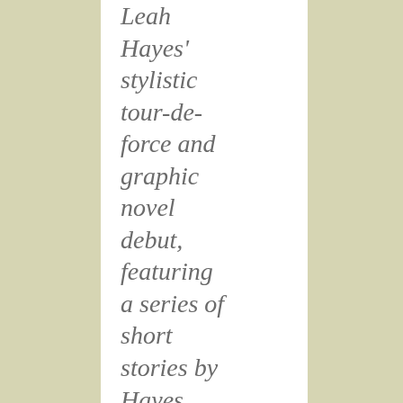Leah Hayes' stylistic tour-de-force and graphic novel debut, featuring a series of short stories by Hayes and illustrated continuously